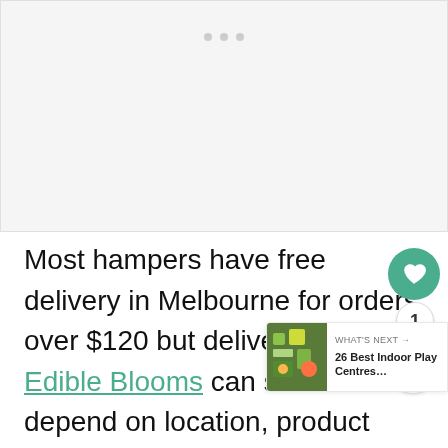[Figure (photo): Image placeholder / carousel area with three navigation dots at the top]
Most hampers have free delivery in Melbourne for orders over $120 but delivery costs for Edible Blooms can sometimes depend on location, product and whether it's the same day service. For instance, send the Easter Sparkling Bunny Bouquet, Easter Treat Dessert Box and other delicious